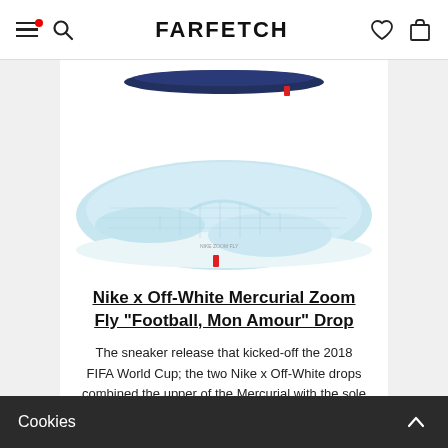FARFETCH
[Figure (photo): Bottom sole view of a Nike x Off-White Mercurial Zoom Fly sneaker showing a light blue translucent outsole with Nike swoosh texture, white midsole, and a blue upper visible at the top of the image.]
Nike x Off-White Mercurial Zoom Fly "Football, Mon Amour" Drop
The sneaker release that kicked-off the 2018 FIFA World Cup; the two Nike x Off-White drops combined the upper of the Mercurial with the sole of the Zoom Fly.
Cookies